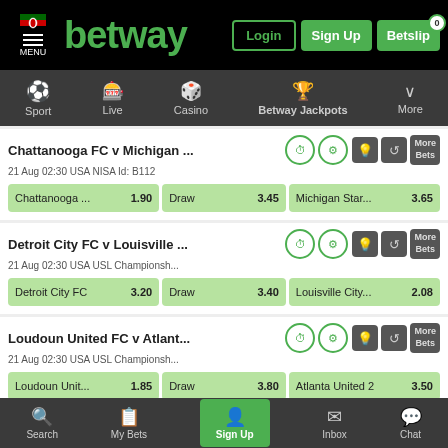[Figure (screenshot): Betway Kenya mobile betting app screenshot]
betway — Login | Sign Up | Betslip 0
Sport | Live | Casino | Betway Jackpots | More
| Match | Home | Draw | Away |
| --- | --- | --- | --- |
| Chattanooga FC v Michigan ...
21 Aug 02:30 USA NISA Id: B112 | Chattanooga ... 1.90 | Draw 3.45 | Michigan Star... 3.65 |
| Detroit City FC v Louisville ...
21 Aug 02:30 USA USL Championsh... | Detroit City FC 3.20 | Draw 3.40 | Louisville City... 2.08 |
| Loudoun United FC v Atlant...
21 Aug 02:30 USA USL Championsh... | Loudoun Unit... 1.85 | Draw 3.80 | Atlanta United 2 3.50 |
We use cookies to provide you with a great user experience. By using Betway, you agree to our cookie policy.
Search | My Bets | Sign Up | Inbox | Chat